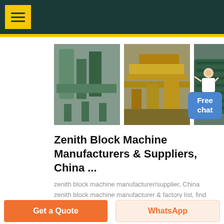Zenith Block Machine Manufacturers & Suppliers — website header with navigation menu button
[Figure (photo): Three industrial machinery photos: green pipe/filter equipment in a factory, yellow conveyor/crusher equipment outdoors, large green cylindrical mill drum]
Zenith Block Machine Manufacturers & Suppliers, China ...
zenith block machine manufacturer/supplier, China zenith block machine manufacturer & factory list, find qualified Chinese zenith block machine manufacturers, suppliers, factories,